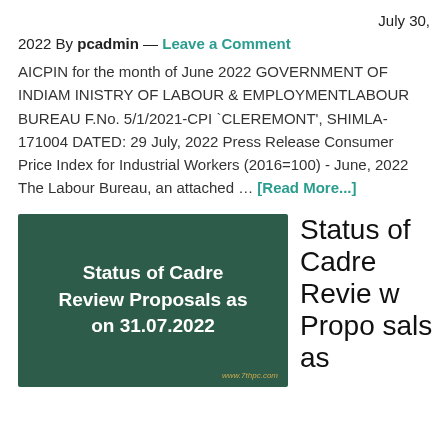July 30,
2022 By pcadmin — Leave a Comment
AICPIN for the month of June 2022 GOVERNMENT OF INDIAM INISTRY OF LABOUR & EMPLOYMENTLABOUR BUREAU F.No. 5/1/2021-CPI `CLEREMONT', SHIMLA-171004 DATED: 29 July, 2022 Press Release Consumer Price Index for Industrial Workers (2016=100) - June, 2022 The Labour Bureau, an attached … [Read More...]
[Figure (illustration): Dark green banner image with white bold text reading 'Status of Cadre Review Proposals as on 31.07.2022' and a small watermark 'www.7thpc.com' at bottom right]
Status of Cadre Review Proposals as